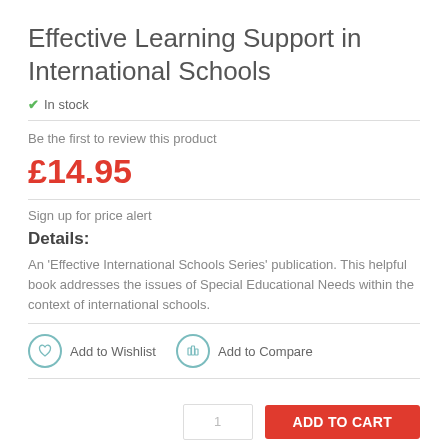Effective Learning Support in International Schools
In stock
Be the first to review this product
£14.95
Sign up for price alert
Details:
An 'Effective International Schools Series' publication. This helpful book addresses the issues of Special Educational Needs within the context of international schools.
Add to Wishlist   Add to Compare